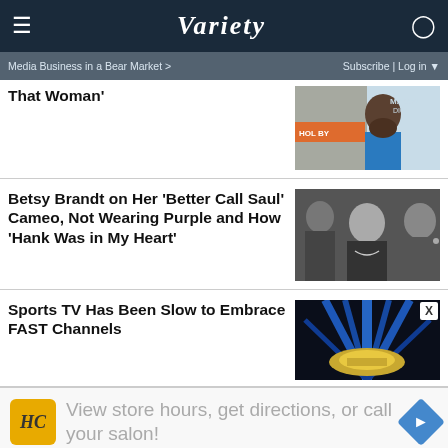Variety — Media Business in a Bear Market > | Subscribe | Log in
That Woman'
[Figure (photo): Man in blue blazer at Amazon Studios event]
Betsy Brandt on Her 'Better Call Saul' Cameo, Not Wearing Purple and How 'Hank Was in My Heart'
[Figure (photo): Black and white photo of women seated, including Betsy Brandt]
Sports TV Has Been Slow to Embrace FAST Channels
[Figure (photo): Blue sports lighting/boxing ring image]
View store hours, get directions, or call your salon!